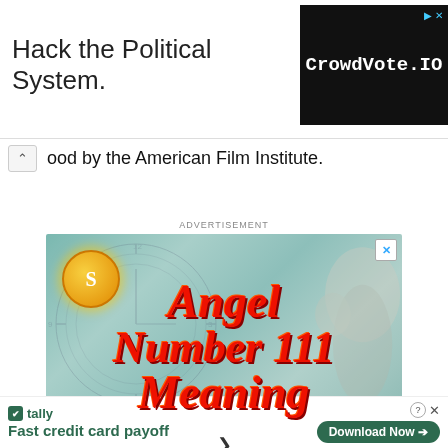[Figure (screenshot): CrowdVote.IO advertisement banner with text 'Hack the Political System.' on white background and dark box with CrowdVote.IO logo]
ood by the American Film Institute.
ADVERTISEMENT
[Figure (photo): Angel Number 111 Meaning advertisement image with mystical teal/aqua background, angel figure, clock overlay, sun logo, red italic text reading 'Angel Number 111 Meaning', and a play button]
ADVERTISEMENT
[Figure (screenshot): Tally app advertisement: 'Fast credit card payoff' with Download Now button]